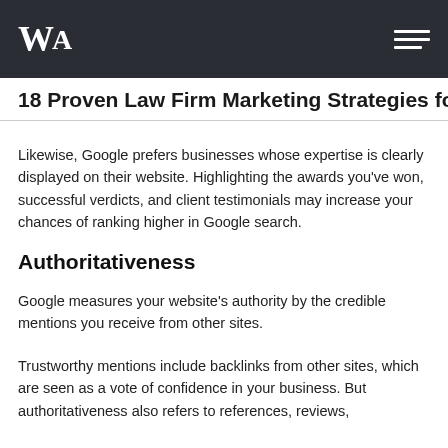WA [logo] | hamburger menu
18 Proven Law Firm Marketing Strategies for 202
Likewise, Google prefers businesses whose expertise is clearly displayed on their website. Highlighting the awards you've won, successful verdicts, and client testimonials may increase your chances of ranking higher in Google search.
Authoritativeness
Google measures your website’s authority by the credible mentions you receive from other sites.
Trustworthy mentions include backlinks from other sites, which are seen as a vote of confidence in your business. But authoritativeness also refers to references, reviews,